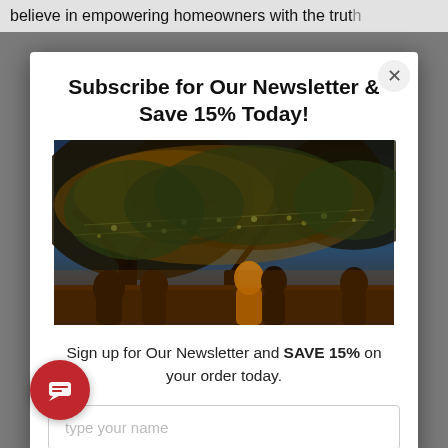believe in empowering homeowners with the trut
Subscribe for Our Newsletter & Save 15% Today!
[Figure (photo): Outdoor evening scene with large illuminated trees strung with lights, people gathered beneath in a warm restaurant or garden setting]
Sign up for Our Newsletter and SAVE 15% on your order today.
type your name